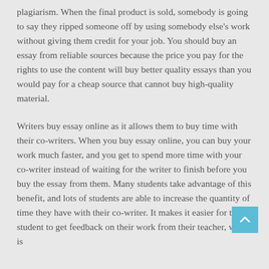plagiarism. When the final product is sold, somebody is going to say they ripped someone off by using somebody else's work without giving them credit for your job. You should buy an essay from reliable sources because the price you pay for the rights to use the content will buy better quality essays than you would pay for a cheap source that cannot buy high-quality material.
Writers buy essay online as it allows them to buy time with their co-writers. When you buy essay online, you can buy your work much faster, and you get to spend more time with your co-writer instead of waiting for the writer to finish before you buy the essay from them. Many students take advantage of this benefit, and lots of students are able to increase the quantity of time they have with their co-writer. It makes it easier for the student to get feedback on their work from their teacher, which is